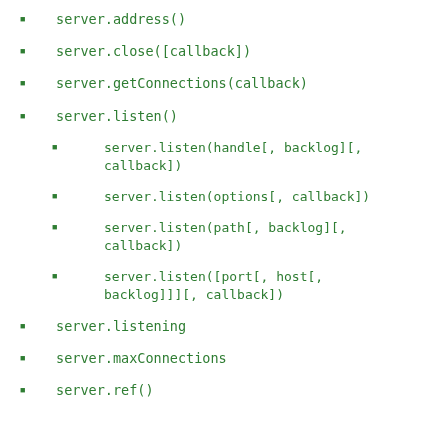server.address()
server.close([callback])
server.getConnections(callback)
server.listen()
server.listen(handle[, backlog][, callback])
server.listen(options[, callback])
server.listen(path[, backlog][, callback])
server.listen([port[, host[, backlog]]][, callback])
server.listening
server.maxConnections
server.ref()